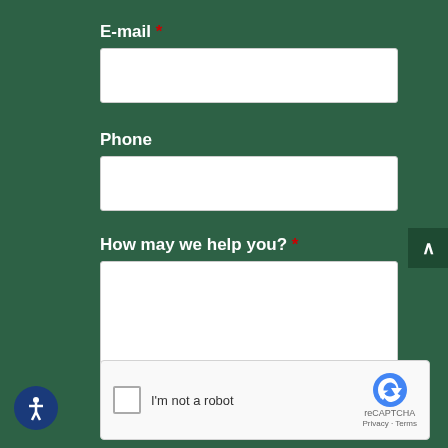E-mail *
[Figure (other): Empty text input field for E-mail]
Phone
[Figure (other): Empty text input field for Phone]
How may we help you? *
[Figure (other): Empty textarea input for How may we help you]
[Figure (other): reCAPTCHA widget: checkbox I'm not a robot with reCAPTCHA logo, Privacy and Terms links]
[Figure (other): Accessibility icon button (circular blue button with person icon)]